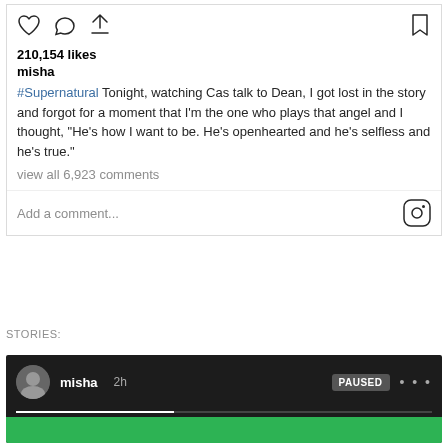[Figure (screenshot): Instagram post action icons: heart, comment, share (left); bookmark (right)]
210,154 likes
misha
#Supernatural Tonight, watching Cas talk to Dean, I got lost in the story and forgot for a moment that I'm the one who plays that angel and I thought, "He's how I want to be. He's openhearted and he's selfless and he's true."
view all 6,923 comments
Add a comment...
STORIES:
[Figure (screenshot): Instagram Stories bar showing misha's story, paused at 2h with progress bar and green content area below]